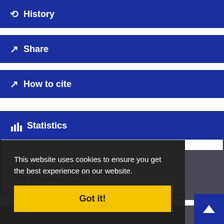History
Share
How to cite
Statistics
Article View: 156
PDF Download: 277
This website uses cookies to ensure you get the best experience on our website.
Got it!
Home